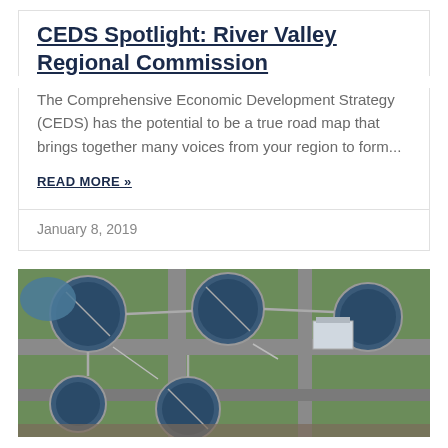CEDS Spotlight: River Valley Regional Commission
The Comprehensive Economic Development Strategy (CEDS) has the potential to be a true road map that brings together many voices from your region to form...
READ MORE »
January 8, 2019
[Figure (photo): Aerial view of a water treatment facility with multiple large circular settling tanks, green grass surroundings, and infrastructure roads.]